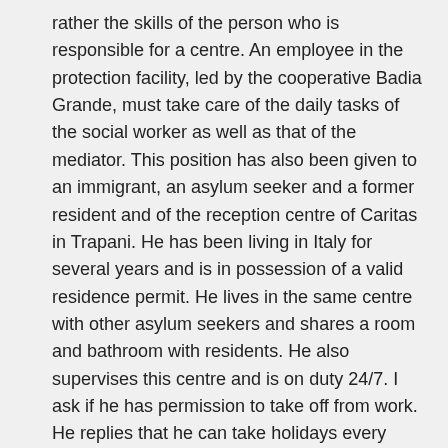rather the skills of the person who is responsible for a centre. An employee in the protection facility, led by the cooperative Badia Grande, must take care of the daily tasks of the social worker as well as that of the mediator. This position has also been given to an immigrant, an asylum seeker and a former resident and of the reception centre of Caritas in Trapani. He has been living in Italy for several years and is in possession of a valid residence permit. He lives in the same centre with other asylum seekers and shares a room and bathroom with residents. He also supervises this centre and is on duty 24/7. I ask if he has permission to take off from work. He replies that he can take holidays every now and then, but not very often. When I ask employees about their salary, they laugh and explain, "Today, when so many people are looking for a job and cannot find one, it is already something to have a job at all." Furthermore, I am trying to understand the transition